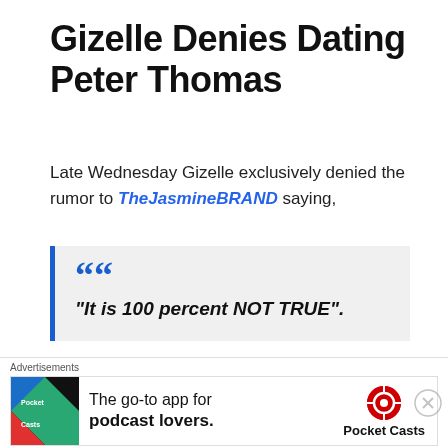Gizelle Denies Dating Peter Thomas
Late Wednesday Gizelle exclusively denied the rumor to TheJasmineBRAND saying,
“It is 100 percent NOT TRUE”.
The last man Gizelle was linked to was of course her ex-husband Jamal Bryant who she
Advertisements
The go-to app for podcast lovers. Pocket Casts